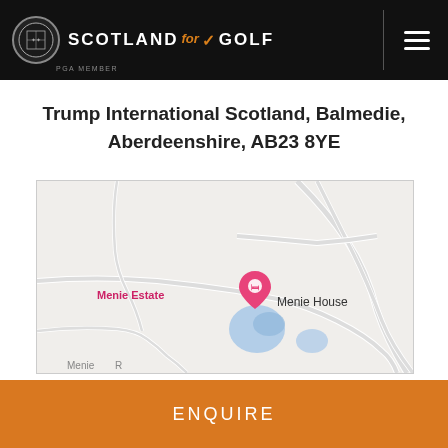[Figure (logo): Scotland for Golf logo with crest on black header bar and hamburger menu icon]
Trump International Scotland, Balmedie, Aberdeenshire, AB23 8YE
[Figure (map): Google Maps screenshot showing Menie Estate location with a pink map pin marker labeled 'Menie Estate', text 'Menie House' and blue water features visible]
ENQUIRE